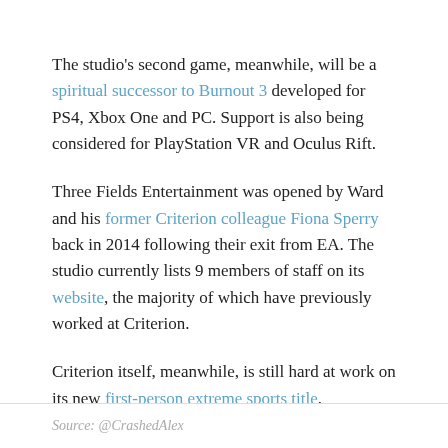The studio's second game, meanwhile, will be a spiritual successor to Burnout 3 developed for PS4, Xbox One and PC. Support is also being considered for PlayStation VR and Oculus Rift.
Three Fields Entertainment was opened by Ward and his former Criterion colleague Fiona Sperry back in 2014 following their exit from EA. The studio currently lists 9 members of staff on its website, the majority of which have previously worked at Criterion.
Criterion itself, meanwhile, is still hard at work on its new first-person extreme sports title.
Source: @CrashedAlex